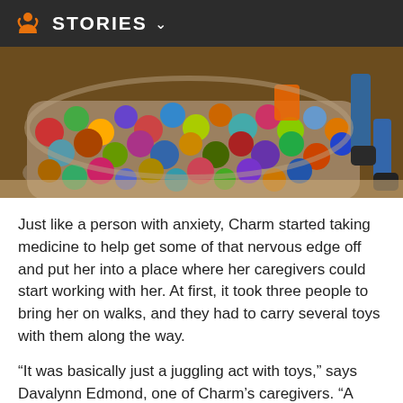STORIES
[Figure (photo): Large bin or container filled with colorful balls (red, green, blue, yellow, purple, orange) with a person's boots visible at the right edge, set on sandy ground.]
Just like a person with anxiety, Charm started taking medicine to help get some of that nervous edge off and put her into a place where her caregivers could start working with her. At first, it took three people to bring her on walks, and they had to carry several toys with them along the way.
“It was basically just a juggling act with toys,” says Davalynn Edmond, one of Charm’s caregivers. “A person can barely...